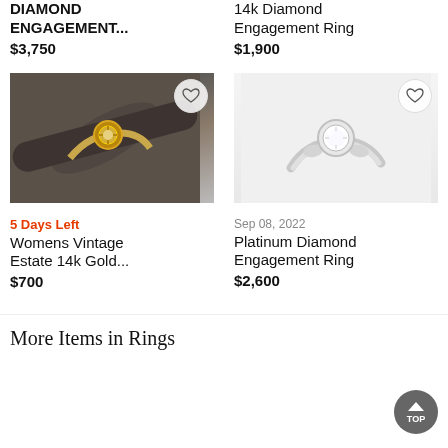DIAMOND ENGAGEMENT...
$3,750
14k Diamond Engagement Ring
$1,900
[Figure (photo): Gold diamond ring on a metal rod, close-up photo]
[Figure (photo): Platinum diamond engagement ring with white background]
5 Days Left
Womens Vintage Estate 14k Gold...
$700
Sep 08, 2022
Platinum Diamond Engagement Ring
$2,600
More Items in Rings